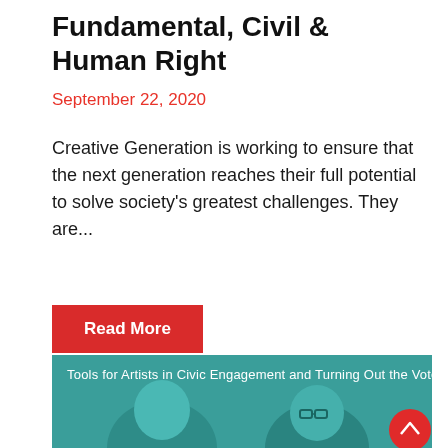Fundamental, Civil & Human Right
September 22, 2020
Creative Generation is working to ensure that the next generation reaches their full potential to solve society's greatest challenges. They are...
Read More
[Figure (photo): Teal/green background image with two people's faces visible and text overlay reading: Tools for Artists in Civic Engagement and Turning Out the Vote]